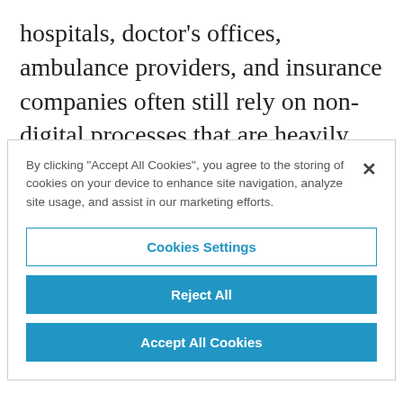hospitals, doctor's offices, ambulance providers, and insurance companies often still rely on non-digital processes that are heavily paper-based and labor dependent. Many healthcare decision makers also put much of their attention on addressing organizational complexity and administrative needs.
By clicking "Accept All Cookies", you agree to the storing of cookies on your device to enhance site navigation, analyze site usage, and assist in our marketing efforts.
Cookies Settings
Reject All
Accept All Cookies